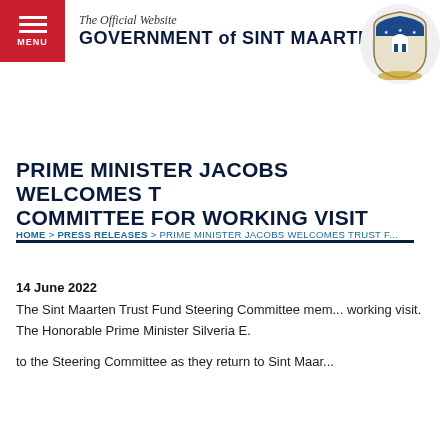The Official Website
GOVERNMENT of SINT MAARTEN
HOME > PRESS RELEASES > PRIME MINISTER JACOBS WELCOMES TRUST F...
PRIME MINISTER JACOBS WELCOMES T... COMMITTEE FOR WORKING VISIT
14 June 2022
The Sint Maarten Trust Fund Steering Committee mem... working visit. The Honorable Prime Minister Silveria E. ... to the Steering Committee as they return to Sint Maar...